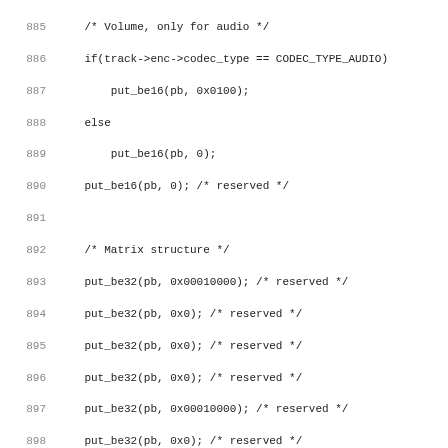[Figure (screenshot): Source code listing showing lines 885-916+ of a C code file with line numbers on the left and code on the right, in monospace font on white background.]